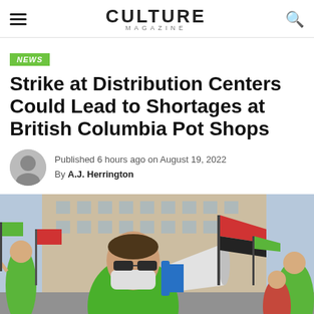CULTURE MAGAZINE
NEWS
Strike at Distribution Centers Could Lead to Shortages at British Columbia Pot Shops
Published 6 hours ago on August 19, 2022
By A.J. Herrington
[Figure (photo): A person wearing a green shirt and face mask holding a megaphone at a protest, with flags and crowds visible in the background in front of a building.]